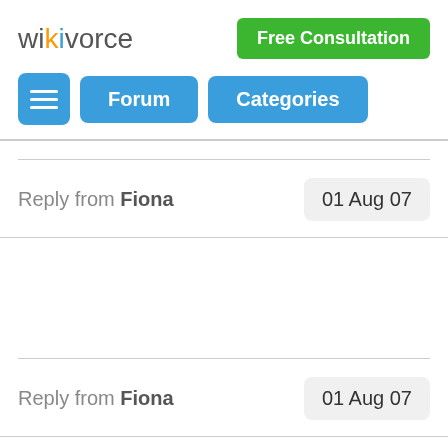wikivorce — Free Consultation
Forum   Categories
Reply from Fiona   01 Aug 07
Reply from Fiona   01 Aug 07